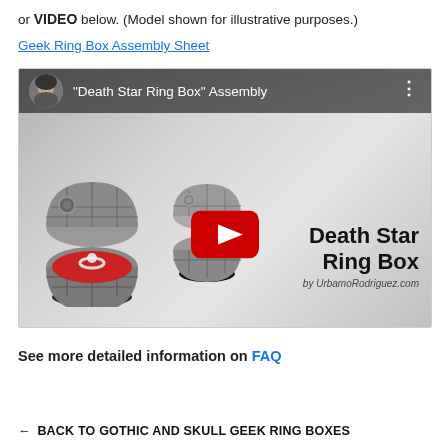or VIDEO below. (Model shown for illustrative purposes.)
Geek Ring Box Assembly Sheet
[Figure (screenshot): YouTube video thumbnail showing Death Star Ring Box Assembly video with play button, avatar, title text, and Death Star ring box props]
See more detailed information on FAQ
← BACK TO GOTHIC AND SKULL GEEK RING BOXES